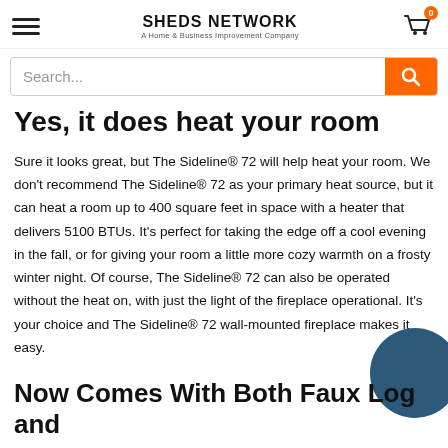SHEDS NETWORK — A Home & Business Improvement Company
Yes, it does heat your room
Sure it looks great, but The Sideline® 72 will help heat your room. We don't recommend The Sideline® 72 as your primary heat source, but it can heat a room up to 400 square feet in space with a heater that delivers 5100 BTUs. It's perfect for taking the edge off a cool evening in the fall, or for giving your room a little more cozy warmth on a frosty winter night. Of course, The Sideline® 72 can also be operated without the heat on, with just the light of the fireplace operational. It's your choice and The Sideline® 72 wall-mounted fireplace makes it easy.
Now Comes With Both Faux Log and